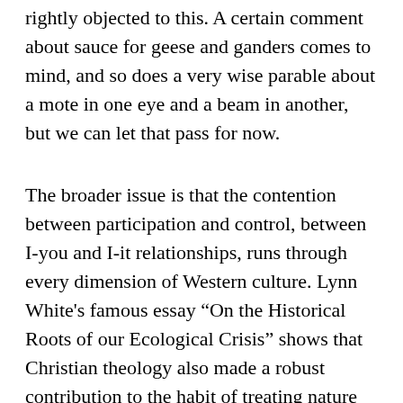rightly objected to this. A certain comment about sauce for geese and ganders comes to mind, and so does a very wise parable about a mote in one eye and a beam in another, but we can let that pass for now.
The broader issue is that the contention between participation and control, between I-you and I-it relationships, runs through every dimension of Western culture. Lynn White's famous essay “On the Historical Roots of our Ecological Crisis” shows that Christian theology also made a robust contribution to the habit of treating nature as an object of dominion rather than a subject that deserves respect, understanding, and dialogue.